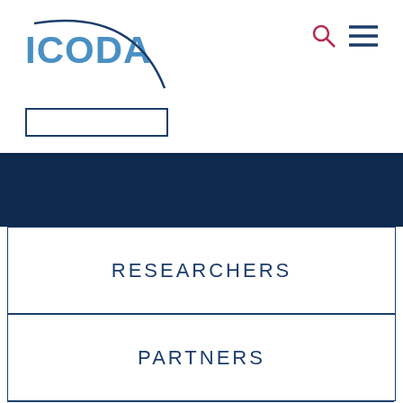[Figure (logo): ICODA - International COVID-19 Data Alliance logo with stylized arc graphic in blue]
[Figure (other): Search icon (magnifying glass in red/pink) and hamburger menu icon in dark blue]
[Figure (other): Empty input/search box outlined in dark blue]
[Figure (other): Dark navy blue banner/hero section]
RESEARCHERS
PARTNERS